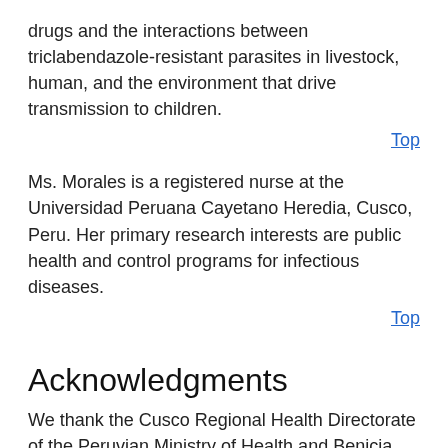drugs and the interactions between triclabendazole-resistant parasites in livestock, human, and the environment that drive transmission to children.
Top
Ms. Morales is a registered nurse at the Universidad Peruana Cayetano Heredia, Cusco, Peru. Her primary research interests are public health and control programs for infectious diseases.
Top
Acknowledgments
We thank the Cusco Regional Health Directorate of the Peruvian Ministry of Health and Benicia Baca, Kelly Fernandez-Baca, Eulogia Arque, and Carolina